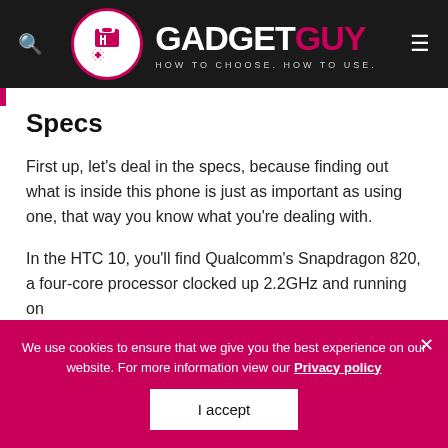[Figure (logo): GadgetGuy logo with circular icon, bold white GADGET and pink GUY text, tagline HOW TO CHOOSE. HOW TO USE.]
Specs
First up, let’s deal in the specs, because finding out what is inside this phone is just as important as using one, that way you know what you’re dealing with.
In the HTC 10, you’ll find Qualcomm’s Snapdragon 820, a four-core processor clocked up 2.2GHz and running on
We use cookies to ensure that we give you the best experience on our website. For more information view our Privacy policy
I accept